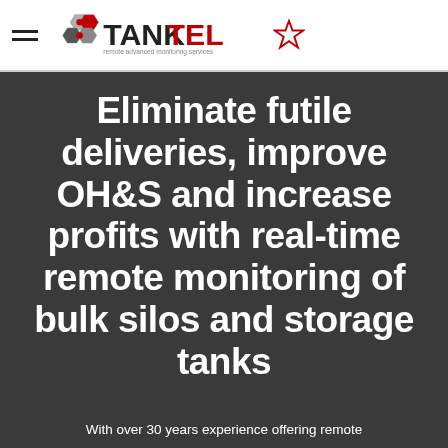TANKTEL — remote advanced monitoring services
Eliminate futile deliveries, improve OH&S and increase profits with real-time remote monitoring of bulk silos and storage tanks
With over 30 years experience offering remote